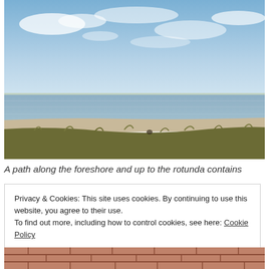[Figure (photo): Coastal landscape photograph showing a foreshore with sandy beach, marsh grasses in the foreground, calm water and a distant shoreline in the middle ground, and a partly cloudy blue sky above.]
A path along the foreshore and up to the rotunda contains
Privacy & Cookies: This site uses cookies. By continuing to use this website, you agree to their use.
To find out more, including how to control cookies, see here: Cookie Policy
[Figure (photo): Partial view of red brick or stone paved surface, bottom portion of page.]